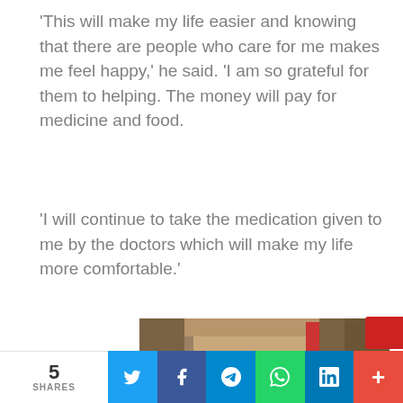'This will make my life easier and knowing that there are people who care for me makes me feel happy,' he said. 'I am so grateful for them to helping. The money will pay for medicine and food.
'I will continue to take the medication given to me by the doctors which will make my life more comfortable.'
[Figure (photo): Photo of a young person sitting in front of a brick wall structure, with wooden pillars visible and a red object in the background, appearing to be in a rural Southeast Asian setting.]
5 SHARES | Twitter | Facebook | Telegram | WhatsApp | LinkedIn | +